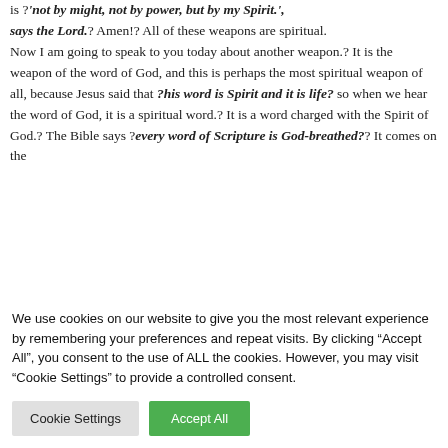is ?'not by might, not by power, but by my Spirit.', says the Lord.? Amen!? All of these weapons are spiritual. Now I am going to speak to you today about another weapon.? It is the weapon of the word of God, and this is perhaps the most spiritual weapon of all, because Jesus said that ?his word is Spirit and it is life? so when we hear the word of God, it is a spiritual word.? It is a word charged with the Spirit of God.? The Bible says ?every word of Scripture is God-breathed?? It comes on the
We use cookies on our website to give you the most relevant experience by remembering your preferences and repeat visits. By clicking "Accept All", you consent to the use of ALL the cookies. However, you may visit "Cookie Settings" to provide a controlled consent.